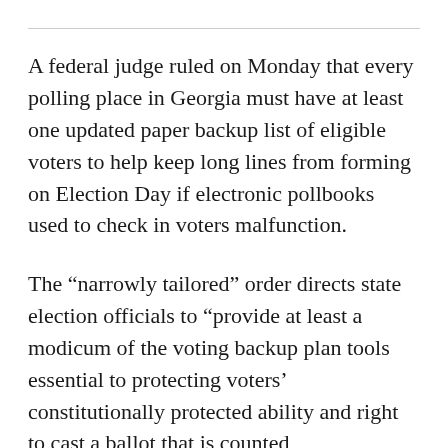A federal judge ruled on Monday that every polling place in Georgia must have at least one updated paper backup list of eligible voters to help keep long lines from forming on Election Day if electronic pollbooks used to check in voters malfunction.
The “narrowly tailored” order directs state election officials to “provide at least a modicum of the voting backup plan tools essential to protecting voters’ constitutionally protected ability and right to cast a ballot that is counted and is not denied, impeded, or changed”